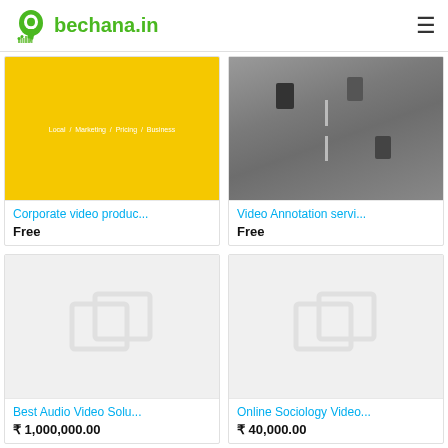bechana.in
[Figure (screenshot): Product card: Corporate video production - yellow background with breadcrumb navigation text 'Local / Marketing / Pricing / Business']
Corporate video produc...
Free
[Figure (screenshot): Product card: Video Annotation service - aerial road photo with cars]
Video Annotation servi...
Free
[Figure (screenshot): Product card: Best Audio Video Solutions - placeholder image with overlapping squares icon]
Best Audio Video Solu...
₹ 1,000,000.00
[Figure (screenshot): Product card: Online Sociology Video - placeholder image with overlapping squares icon]
Online Sociology Video...
₹ 40,000.00